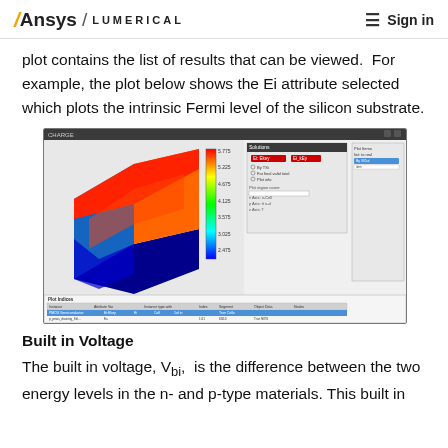Ansys / LUMERICAL  ☰ Sign in
plot contains the list of results that can be viewed.  For example, the plot below shows the Ei attribute selected which plots the intrinsic Fermi level of the silicon substrate.
[Figure (screenshot): Ansys Lumerical CHARGE simulation software screenshot showing a 3D color plot of intrinsic Fermi level (Ei) across a silicon substrate with a color scale bar ranging from blue (low) to red (high), and a results panel below with attribute tables listing simulation parameters and results.]
Built in Voltage
The built in voltage, Vbi,  is the difference between the two energy levels in the n- and p-type materials. This built in